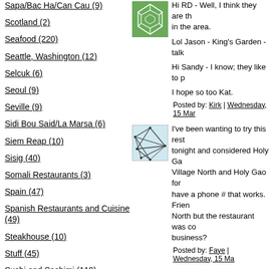Sapa/Bac Ha/Can Cau (9)
Scotland (2)
Seafood (220)
Seattle, Washington (12)
Selcuk (6)
Seoul (9)
Seville (9)
Sidi Bou Said/La Marsa (6)
Siem Reap (10)
Sisig (40)
Somali Restaurants (3)
Spain (47)
Spanish Restaurants and Cuisine (49)
Steakhouse (10)
Stuff (45)
Sushi and Sashimi (119)
Suzhou (6)
Symi (4)
Hi RD - Well, I think they are th... in the area.
Lol Jason - King's Garden - talk...
Hi Sandy - I know; they like to p...
I hope so too Kat.
Posted by: Kirk | Wednesday, 15 Mar...
I've been wanting to try this rest... tonight and considered Holy Ga... Village North and Holy Gao for... have a phone # that works. Frien... North but the restaurant was co... business?
Posted by: Faye | Wednesday, 15 Ma...
I prefer Village North. They are... They are also closed on Tuesday...
Posted by: Kirk | Wednesday, 15 Mar...